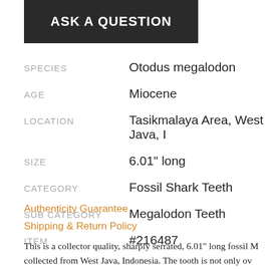[Figure (other): Dark button with text ASK A QUESTION]
| SPECIES | Otodus megalodon |
| AGE | Miocene |
| LOCATION | Tasikmalaya Area, West Java, I... |
| SIZE | 6.01" long |
| CATEGORY | Fossil Shark Teeth |
| SUB CATEGORY | Megalodon Teeth |
| ITEM | #216487 |
Authenticity Guarantee
Shipping & Return Policy
This is a collector quality, sharply serrated, 6.01" long fossil M... collected from West Java, Indonesia. The tooth is not only ov... preservation is exceptional. The blade is nearly pristine, the b... the root has very little erosion compared to most Indonesian...